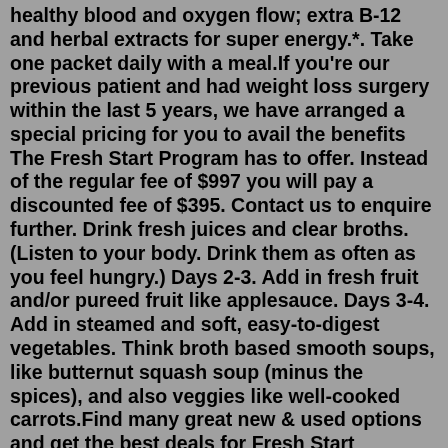healthy blood and oxygen flow; extra B-12 and herbal extracts for super energy.*. Take one packet daily with a meal.If you're our previous patient and had weight loss surgery within the last 5 years, we have arranged a special pricing for you to avail the benefits The Fresh Start Program has to offer. Instead of the regular fee of $997 you will pay a discounted fee of $395. Contact us to enquire further. Drink fresh juices and clear broths. (Listen to your body. Drink them as often as you feel hungry.) Days 2-3. Add in fresh fruit and/or pureed fruit like applesauce. Days 3-4. Add in steamed and soft, easy-to-digest vegetables. Think broth based smooth soups, like butternut squash soup (minus the spices), and also veggies like well-cooked carrots.Find many great new & used options and get the best deals for Fresh Start Bariatric Cookbook : Healthy Recipes to Enjoy Favorite Foods after Weight-Loss Surgery by Sarah Kent (2017, Trade Paperback) at the best online prices at eBay! Free shipping for many products!Jan 27, 2022 · The